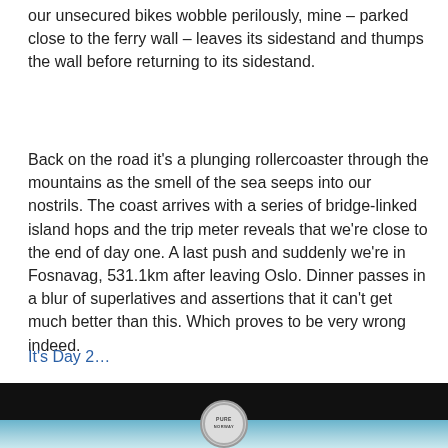our unsecured bikes wobble perilously, mine – parked close to the ferry wall – leaves its sidestand and thumps the wall before returning to its sidestand.
Back on the road it’s a plunging rollercoaster through the mountains as the smell of the sea seeps into our nostrils. The coast arrives with a series of bridge-linked island hops and the trip meter reveals that we’re close to the end of day one. A last push and suddenly we’re in Fosnavag, 531.1km after leaving Oslo. Dinner passes in a blur of superlatives and assertions that it can’t get much better than this. Which proves to be very wrong indeed.
It’s Day 2…
Have a browse for your next bike on MCN Bikes For Sale website or use the MCN’s Bikes For Sale App.
[Figure (photo): Dark photo strip at the bottom of the page showing a night/dusk scene with a circular logo/badge in the center bottom area]